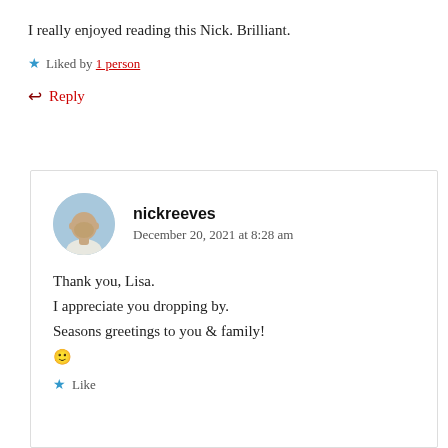I really enjoyed reading this Nick. Brilliant.
Liked by 1 person
Reply
nickreeves
December 20, 2021 at 8:28 am
Thank you, Lisa.
I appreciate you dropping by.
Seasons greetings to you & family!
🙂
Like